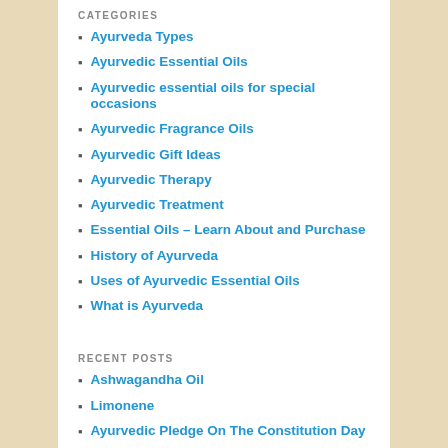CATEGORIES
Ayurveda Types
Ayurvedic Essential Oils
Ayurvedic essential oils for special occasions
Ayurvedic Fragrance Oils
Ayurvedic Gift Ideas
Ayurvedic Therapy
Ayurvedic Treatment
Essential Oils – Learn About and Purchase
History of Ayurveda
Uses of Ayurvedic Essential Oils
What is Ayurveda
RECENT POSTS
Ashwagandha Oil
Limonene
Ayurvedic Pledge On The Constitution Day
Ayurveda and Aromatherapy: The Untold Anecdote
Ayurvedic Body Types: Determining The Real 'YOU'